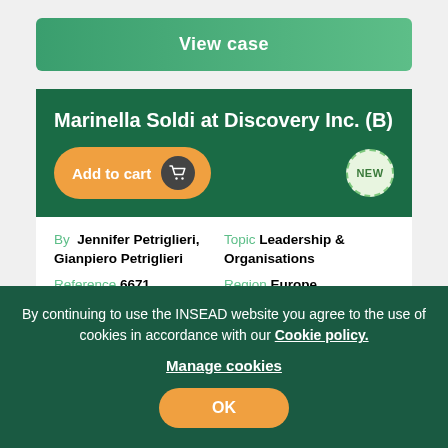View case
Marinella Soldi at Discovery Inc. (B)
Add to cart
NEW
By  Jennifer Petriglieri, Gianpiero Petriglieri
Reference 6671
Published 07 Dec 2021
Topic Leadership & Organisations
Region Europe
Industry Media Production
In May 2010, a year after becoming President and Managing Director for Southern Europe at Discovery Inc., Marinella Soldi
By continuing to use the INSEAD website you agree to the use of cookies in accordance with our Cookie policy.
Manage cookies
OK